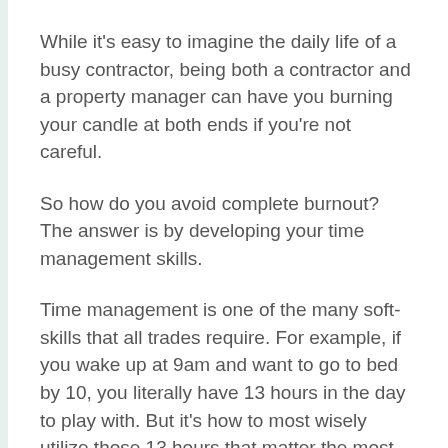While it's easy to imagine the daily life of a busy contractor, being both a contractor and a property manager can have you burning your candle at both ends if you're not careful.
So how do you avoid complete burnout? The answer is by developing your time management skills.
Time management is one of the many soft-skills that all trades require. For example, if you wake up at 9am and want to go to bed by 10, you literally have 13 hours in the day to play with. But it's how to most wisely utilize those 13 hours that matter the most.
Time management is sometimes best accomplished by developing a strict schedule. And